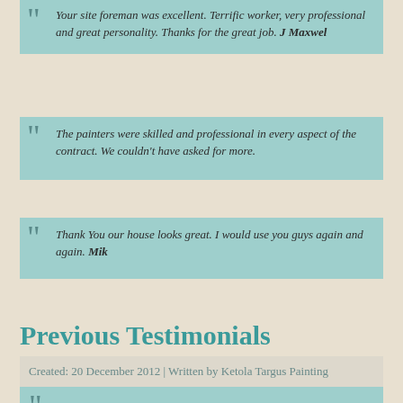Your site foreman was excellent. Terrific worker, very professional and great personality. Thanks for the great job. J Maxwel
The painters were skilled and professional in every aspect of the contract. We couldn't have asked for more.
Thank You our house looks great. I would use you guys again and again. Mik
We are very pleased with everything from pre paint consultation to the painters painting. We have recommended you many times.
Previous Testimonials
Created: 20 December 2012 | Written by Ketola Targus Painting
I HAD ANOTHER REMODEL this Summer and